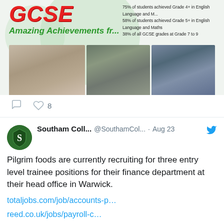[Figure (screenshot): GCSE results banner showing 'Amazing Achievements' text with student statistics and photos of celebrating students]
8 likes
Southam Coll... @SouthamCol... · Aug 23
Pilgrim foods are currently recruiting for three entry level trainee positions for their finance department at their head office in Warwick.
totaljobs.com/job/accounts-p…
reed.co.uk/jobs/payroll-c…
[Figure (screenshot): Reed.co.uk job search card with magenta/pink background, white R logo and dots, showing URL https://t.co/H2pnEWtGM0 and title Reed.co.uk Job Search]